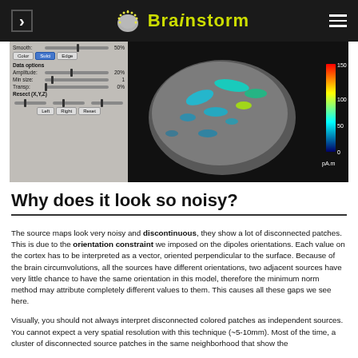Brainstorm
[Figure (screenshot): Brainstorm software interface showing brain visualization controls on left (Smooth slider 50%, Color/Sulci/Edge buttons, Data options with Amplitude 20%, Min size 1, Transp 0%, Resect X,Y,Z sliders with Left/Right/Reset buttons) and a 3D brain cortex with source map overlay on right with color bar from 0 to 150 pA·m]
Why does it look so noisy?
The source maps look very noisy and discontinuous, they show a lot of disconnected patches. This is due to the orientation constraint we imposed on the dipoles orientations. Each value on the cortex has to be interpreted as a vector, oriented perpendicular to the surface. Because of the brain circumvolutions, all the sources have different orientations, two adjacent sources have very little chance to have the same orientation in this model, therefore the minimum norm method may attribute completely different values to them. This causes all these gaps we see here.
Visually, you should not always interpret disconnected colored patches as independent sources. You cannot expect a very spatial resolution with this technique (~5-10mm). Most of the time, a cluster of disconnected source patches in the same neighborhood that show the